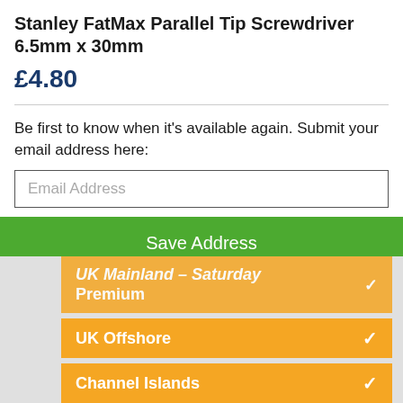Stanley FatMax Parallel Tip Screwdriver 6.5mm x 30mm
£4.80
Be first to know when it's available again. Submit your email address here:
Email Address
Save Address
UK Mainland – Saturday Premium
UK Offshore
Channel Islands